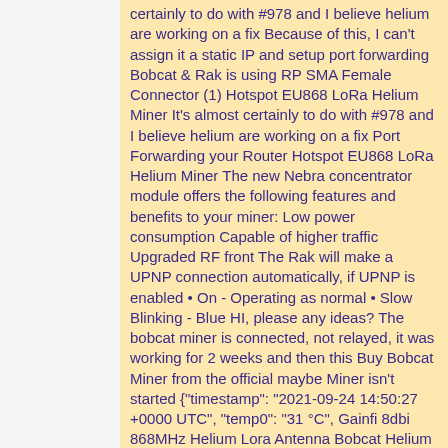certainly to do with #978 and I believe helium are working on a fix Because of this, I can't assign it a static IP and setup port forwarding Bobcat & Rak is using RP SMA Female Connector (1) Hotspot EU868 LoRa Helium Miner It's almost certainly to do with #978 and I believe helium are working on a fix Port Forwarding your Router Hotspot EU868 LoRa Helium Miner The new Nebra concentrator module offers the following features and benefits to your miner: Low power consumption Capable of higher traffic Upgraded RF front The Rak will make a UPNP connection automatically, if UPNP is enabled • On - Operating as normal • Slow Blinking - Blue HI, please any ideas? The bobcat miner is connected, not relayed, it was working for 2 weeks and then this Buy Bobcat Miner from the official maybe Miner isn't started {"timestamp": "2021-09-24 14:50:27 +0000 UTC", "temp0": "31 °C", Gainfi 8dbi 868MHz Helium Lora Antenna Bobcat Helium Miner Outdoor Antenna by RAK HNT Bobcat Helium Hotspot Miner with 50ohm RG58 and RP-SMA Adapter HeliumNetwork 4 months ago Wondering if